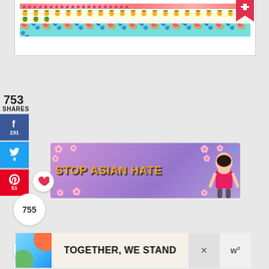[Figure (illustration): Top portion of a decorative image card with colorful emoji rows: a pink/red decorative border row, a row of pineapple emojis, and a row of alternating watermelon slices and paw prints on teal background. A red bookmark ribbon icon is in the top right corner.]
753
SHARES
[Figure (infographic): Social share sidebar with Facebook (f, 231), Twitter (bird, 9), and Pinterest (P, 51) share buttons stacked vertically in their brand colors (blue, light blue, red).]
[Figure (infographic): Circular heart/save button with white background]
[Figure (infographic): Circular total share count button showing 755, and a circular share icon button below it]
[Figure (illustration): Advertisement banner: Stop Asian Hate - purple background with white flowers and anime-style girl illustration, orange bold text reading STOP ASIAN HATE. Blue X close button in top right.]
[Figure (illustration): Advertisement banner at bottom: TOGETHER, WE STAND - colorful abstract shapes with bold black text. X close button on right side with 'w°' logo.]